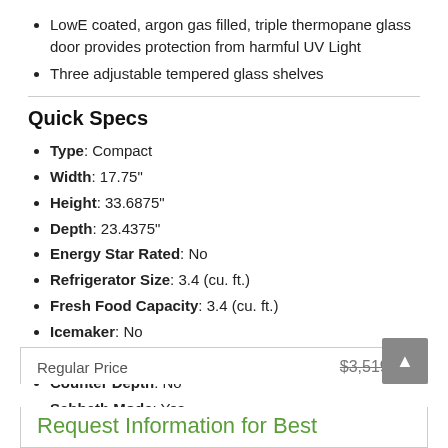LowE coated, argon gas filled, triple thermopane glass door provides protection from harmful UV Light
Three adjustable tempered glass shelves
Quick Specs
Type: Compact
Width: 17.75"
Height: 33.6875"
Depth: 23.4375"
Energy Star Rated: No
Refrigerator Size: 3.4 (cu. ft.)
Fresh Food Capacity: 3.4 (cu. ft.)
Icemaker: No
Dispenser: No
Counter Depth: No
Sabbath Mode: Yes
WiFi Connected: No
See More
| Regular Price | $3,519.99 |
| --- | --- |
Request Information for Best